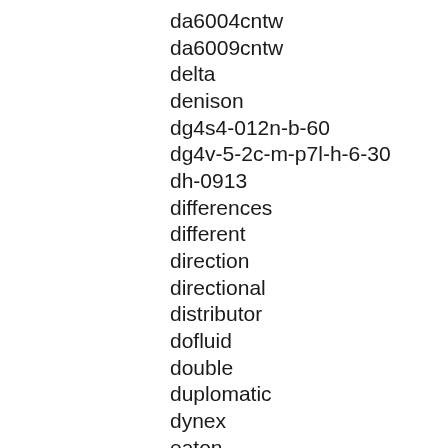da6004cntw
da6009cntw
delta
denison
dg4s4-012n-b-60
dg4v-5-2c-m-p7l-h-6-30
dh-0913
differences
different
direction
directional
distributor
dofluid
double
duplomatic
dynex
eaton
eatonvickers
electro-hydraulic
electronic